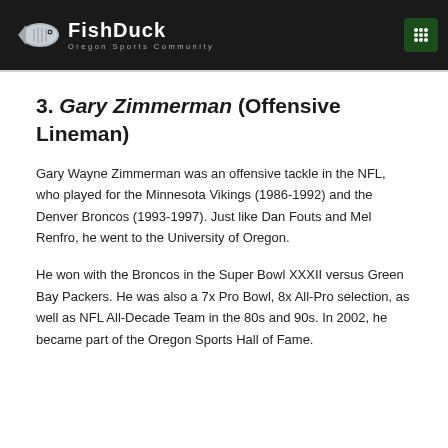FishDuck — Oregon Sports Community
3. Gary Zimmerman (Offensive Lineman)
Gary Wayne Zimmerman was an offensive tackle in the NFL, who played for the Minnesota Vikings (1986-1992) and the Denver Broncos (1993-1997). Just like Dan Fouts and Mel Renfro, he went to the University of Oregon.
He won with the Broncos in the Super Bowl XXXII versus Green Bay Packers. He was also a 7x Pro Bowl, 8x All-Pro selection, as well as NFL All-Decade Team in the 80s and 90s. In 2002, he became part of the Oregon Sports Hall of Fame.